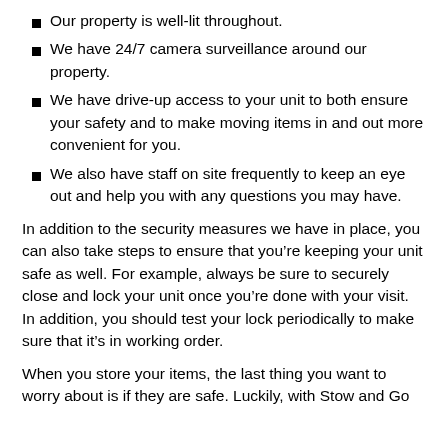Our property is well-lit throughout.
We have 24/7 camera surveillance around our property.
We have drive-up access to your unit to both ensure your safety and to make moving items in and out more convenient for you.
We also have staff on site frequently to keep an eye out and help you with any questions you may have.
In addition to the security measures we have in place, you can also take steps to ensure that you’re keeping your unit safe as well. For example, always be sure to securely close and lock your unit once you’re done with your visit. In addition, you should test your lock periodically to make sure that it’s in working order.
When you store your items, the last thing you want to worry about is if they are safe. Luckily, with Stow and Go Storage, you can rest assured that your items are...